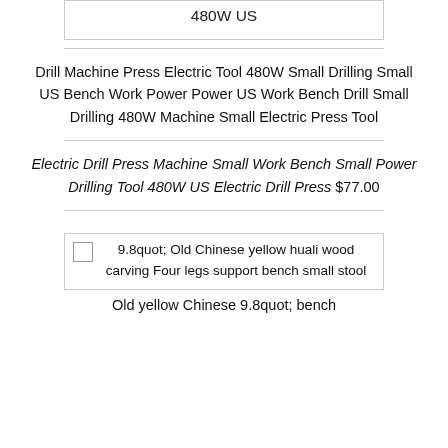480W US
Drill Machine Press Electric Tool 480W Small Drilling Small US Bench Work Power Power US Work Bench Drill Small Drilling 480W Machine Small Electric Press Tool
Electric Drill Press Machine Small Work Bench Small Power Drilling Tool 480W US Electric Drill Press $77.00
[Figure (photo): Broken image placeholder for: 9.8quot; Old Chinese yellow huali wood carving Four legs support bench small stool]
Old yellow Chinese 9.8quot; bench